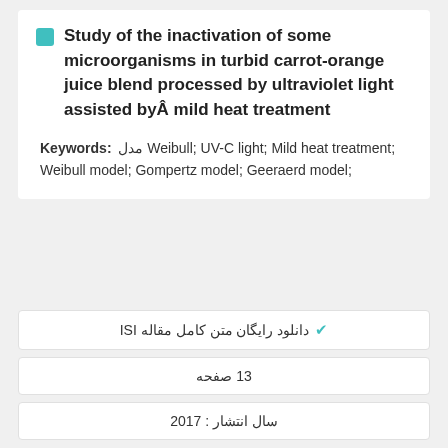Study of the inactivation of some microorganisms in turbid carrot-orange juice blend processed by ultraviolet light assisted by mild heat treatment
Keywords: مدل Weibull; UV-C light; Mild heat treatment; Weibull model; Gompertz model; Geeraerd model;
دانلود رایگان متن کامل مقاله ISI
13 صفحه
سال انتشار : 2017